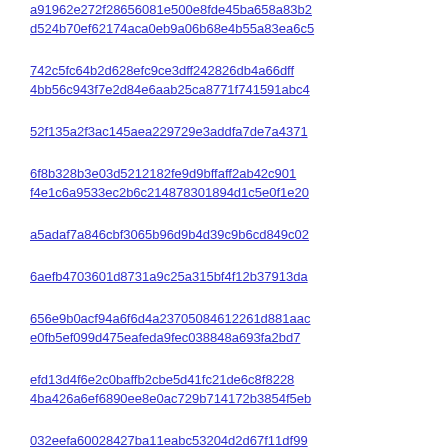a=gaia
a91962e272f28656081e500e8fde45ba658a83b2 | B2G B
d524b70ef62174aca0eb9a06b68e4b55a83ea6c5 | B2G B a=gaia
742c5fc64b2d628efc9ce3dff242826db4a66dff | B2G B
4bb56c943f7e2d84e6aab25ca8771f741591abc4 | B2G B a=gaia
52f135a2f3ac145aea229729e3addfa7de7a4371 | Ferna top of
6f8b328b3e03d5212182fe9d9bffaff2ab42c901 | B2G B
f4e1c6a9533ec2b6c214878301894d1c5e0f1e20 | B2G B a=gaia
a5adaf7a846cbf3065b96d9b4d39c9b6cd849c02 | Alexa and ab
6aefb4703601d8731a9c25a315bf4f12b37913da | Viral V r=mww
656e9b0acf94a6f6d4a23705084612261d881aac | B2G B
e0fb5ef099d475eafeda9fec038848a693fa2bd7 | B2G B a=gaia
efd13d4f6e2c0baffb2cbe5d41fc21de6c8f8228 | B2G B
4ba426a6ef6890ee8e0ac729b714172b3854f5eb | B2G B a=gaia
032eefa60028427ba11eabc53204d2d67f11df99 | B2G B
b7410427fd383753db533dd6b4e0f342bfbd025e | B2G B a=gaia
7c03738e7a95a7d77f9cad311c02ea8d6d87e605 | Carste a=mem